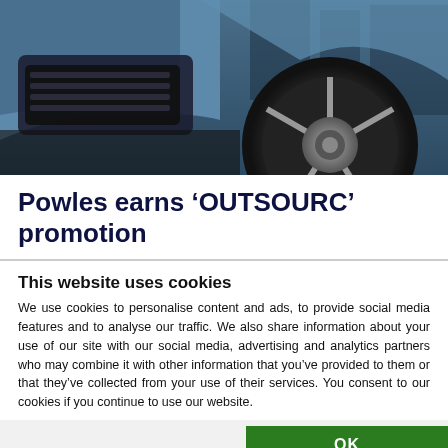[Figure (photo): Close-up photo of a blue car showing the front bumper area and a large alloy wheel on the right side, dark blue/grey tones.]
Powles earns ‘OUTSOURC’ promotion
This website uses cookies
We use cookies to personalise content and ads, to provide social media features and to analyse our traffic. We also share information about your use of our site with our social media, advertising and analytics partners who may combine it with other information that you’ve provided to them or that they’ve collected from your use of their services. You consent to our cookies if you continue to use our website.